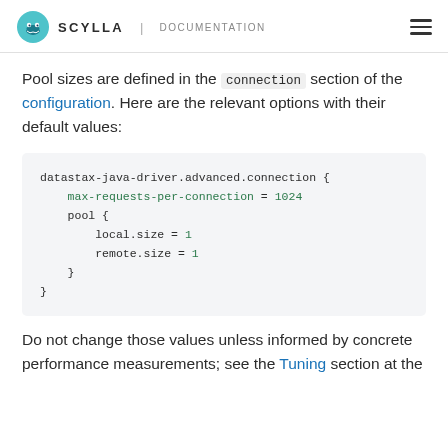SCYLLA | DOCUMENTATION
Pool sizes are defined in the connection section of the configuration. Here are the relevant options with their default values:
datastax-java-driver.advanced.connection {
  max-requests-per-connection = 1024
  pool {
    local.size = 1
    remote.size = 1
  }
}
Do not change those values unless informed by concrete performance measurements; see the Tuning section at the